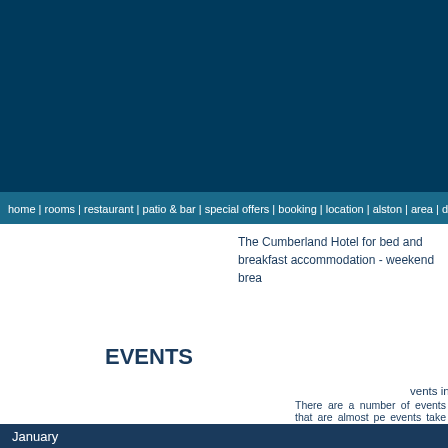[Figure (other): Dark blue header banner for Cumberland Hotel website]
home | rooms | restaurant | patio & bar | special offers | booking | location | alston | area | days ou
The Cumberland Hotel for bed and breakfast accommodation - weekend brea
EVENTS
vents in and around Alston, Cumbria.
There are a number of events that are almost pe events take place all over Alston Moor: Alston Sheepdog Trials and many others. Please keep checking back Alston makes a memorable place to take a break whatever the
| January |
| --- |
| Burns Night Celebration, Alston Town Hall |